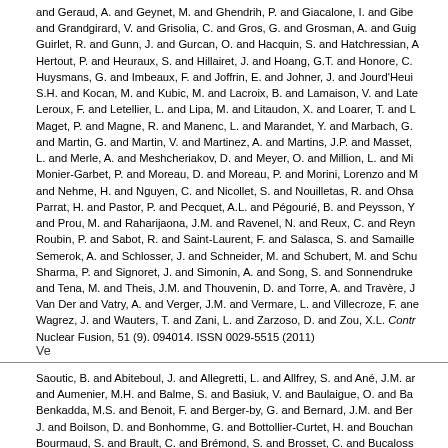and Geraud, A. and Geynet, M. and Ghendrih, P. and Giacalone, I. and Gibe and Grandgirard, V. and Grisolia, C. and Gros, G. and Grosman, A. and Guig Guirlet, R. and Gunn, J. and Gurcan, O. and Hacquin, S. and Hatchressian, A Hertout, P. and Heuraux, S. and Hillairet, J. and Hoang, G.T. and Honore, C. Huysmans, G. and Imbeaux, F. and Joffrin, E. and Johner, J. and Jourd'Heui S.H. and Kocan, M. and Kubic, M. and Lacroix, B. and Lamaison, V. and Late Leroux, F. and Letellier, L. and Lipa, M. and Litaudon, X. and Loarer, T. and L Maget, P. and Magne, R. and Manenc, L. and Marandet, Y. and Marbach, G. and Martin, G. and Martin, V. and Martinez, A. and Martins, J.P. and Masset, L. and Merle, A. and Meshcheriakov, D. and Meyer, O. and Million, L. and Mi Monier-Garbet, P. and Moreau, D. and Moreau, P. and Morini, Lorenzo and M and Nehme, H. and Nguyen, C. and Nicollet, S. and Nouilletas, R. and Ohsa Parrat, H. and Pastor, P. and Pecquet, A.L. and Pégourié, B. and Peysson, Y and Prou, M. and Raharijaona, J.M. and Ravenel, N. and Reux, C. and Reyn Roubin, P. and Sabot, R. and Saint-Laurent, F. and Salasca, S. and Samaille Semerok, A. and Schlosser, J. and Schneider, M. and Schubert, M. and Schu Sharma, P. and Signoret, J. and Simonin, A. and Song, S. and Sonnendruke and Tena, M. and Theis, J.M. and Thouvenin, D. and Torre, A. and Travère, J Van Der and Vatry, A. and Verger, J.M. and Vermare, L. and Villecroze, F. ane Wagrez, J. and Wauters, T. and Zani, L. and Zarzoso, D. and Zou, X.L. Contr Nuclear Fusion, 51 (9). 094014. ISSN 0029-5515 (2011)
Ve
Saoutic, B. and Abiteboul, J. and Allegretti, L. and Allfrey, S. and Ané, J.M. ar and Aumenier, M.H. and Balme, S. and Basiuk, V. and Baulaigue, O. and Ba Benkadda, M.S. and Benoit, F. and Berger-by, G. and Bernard, J.M. and Ber J. and Boilson, D. and Bonhomme, G. and Bottollier-Curtet, H. and Bouchan Bourmaud, S. and Brault, C. and Brémond, S. and Brosset, C. and Bucaloss